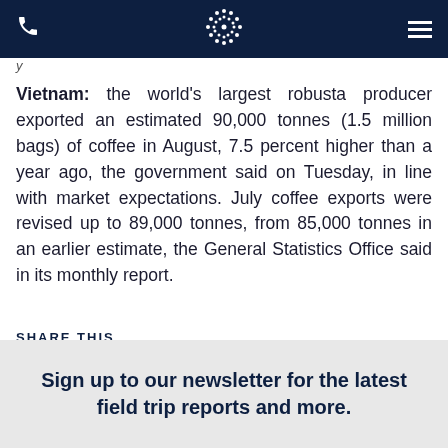Navigation bar with phone icon, logo, and menu
Vietnam: the world's largest robusta producer exported an estimated 90,000 tonnes (1.5 million bags) of coffee in August, 7.5 percent higher than a year ago, the government said on Tuesday, in line with market expectations. July coffee exports were revised up to 89,000 tonnes, from 85,000 tonnes in an earlier estimate, the General Statistics Office said in its monthly report.
SHARE THIS
[Figure (infographic): Social media share icons: Facebook, Twitter, LinkedIn, and more (ellipsis)]
Sign up to our newsletter for the latest field trip reports and more.